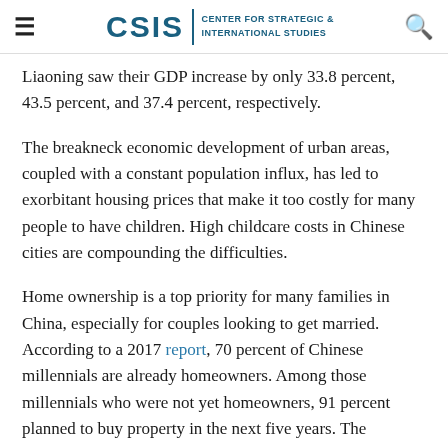CSIS | CENTER FOR STRATEGIC & INTERNATIONAL STUDIES
Liaoning saw their GDP increase by only 33.8 percent, 43.5 percent, and 37.4 percent, respectively.
The breakneck economic development of urban areas, coupled with a constant population influx, has led to exorbitant housing prices that make it too costly for many people to have children. High childcare costs in Chinese cities are compounding the difficulties.
Home ownership is a top priority for many families in China, especially for couples looking to get married. According to a 2017 report, 70 percent of Chinese millennials are already homeowners. Among those millennials who were not yet homeowners, 91 percent planned to buy property in the next five years. The homeownership rate among millennials in China is much